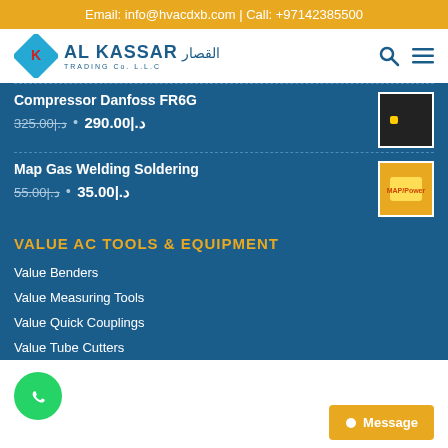Email: info@hvacdxb.com | Call: +97142385500
[Figure (logo): Al Kassar Trading Co. L.L.C logo with blue diamond shape and K letter]
Compressor Danfoss FR6G
325.00|.د • 290.00|.د
Map Gas Welding Soldering
55.00|.د • 35.00|.د
VALUE AC TOOLS & EQUIPMENT
Value Benders
Value Measuring Tools
Value Quick Couplings
Value Tube Cutters